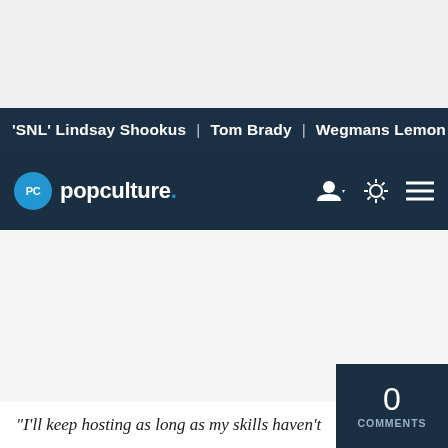'SNL' Lindsay Shookus | Tom Brady | Wegmans Lemon Dill F
popculture.
[Figure (other): Large empty content/ad area in light gray]
"I'll keep hosting as long as my skills haven't
0 COMMENTS